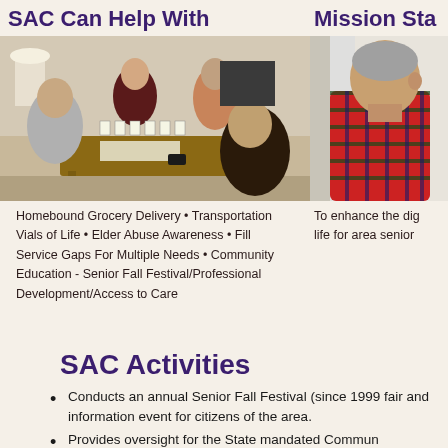SAC Can Help With
Mission Sta
[Figure (photo): Group of elderly people sitting around a table playing mahjong or a tile game indoors.]
[Figure (photo): Elderly man in a plaid shirt viewed from behind, sitting in a room.]
Homebound Grocery Delivery • Transportation Vials of Life • Elder Abuse Awareness • Fill Service Gaps For Multiple Needs • Community Education - Senior Fall Festival/Professional Development/Access to Care
To enhance the dig life for area senior
SAC Activities
Conducts an annual Senior Fall Festival (since 1999 fair and information event for citizens of the area.
Provides oversight for the State mandated Commun Coordination Group for Adults (CRCGA) that devel